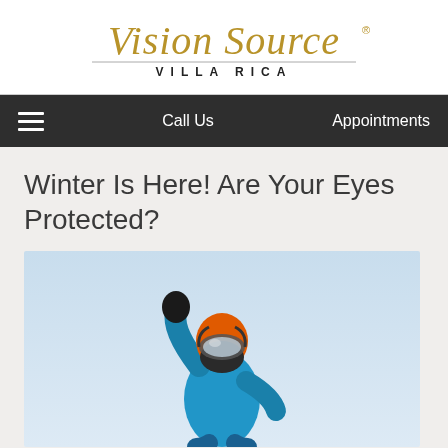[Figure (logo): Vision Source Villa Rica logo with gold script lettering and subtitle in spaced caps]
Call Us   Appointments
Winter Is Here! Are Your Eyes Protected?
[Figure (photo): Snowboarder in blue jacket, orange helmet, ski goggles, and black gloves jumping in the air against a light blue sky]